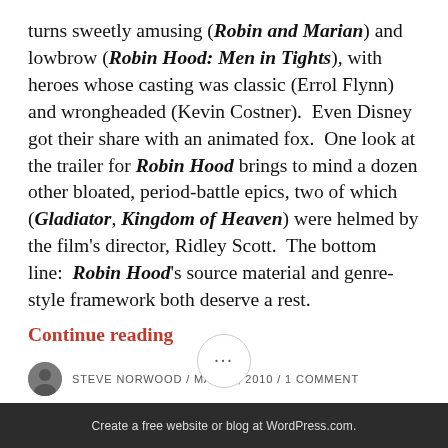turns sweetly amusing (Robin and Marian) and lowbrow (Robin Hood: Men in Tights), with heroes whose casting was classic (Errol Flynn) and wrongheaded (Kevin Costner).  Even Disney got their share with an animated fox.  One look at the trailer for Robin Hood brings to mind a dozen other bloated, period-battle epics, two of which (Gladiator, Kingdom of Heaven) were helmed by the film's director, Ridley Scott.  The bottom line:  Robin Hood's source material and genre-style framework both deserve a rest.
Continue reading
STEVE NORWOOD / MAY 14, 2010 / 1 COMMENT
[Figure (other): Three dots inside a circle, serving as a UI navigation/menu element]
Create a free website or blog at WordPress.com.